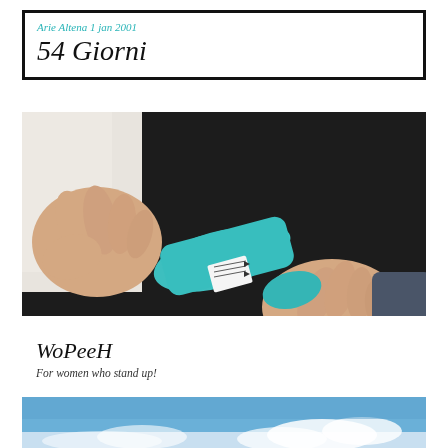Arie Altena 1 jan 2001
54 Giorni
[Figure (photo): Hands holding a teal/turquoise colored WoPeeH device against a dark background. The device has a label on it.]
WoPeeH
For women who stand up!
[Figure (photo): Partial view of a blue sky with clouds at the bottom of the page.]